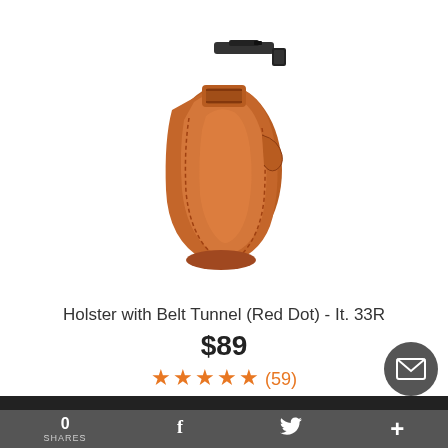[Figure (photo): Brown leather gun holster with belt tunnel, shown from the side. Red-brown leather construction with stitching details.]
Holster with Belt Tunnel (Red Dot) - It. 33R
$89
★★★★★ (59)
[Figure (photo): Black pistol in a brown leather holster, partial view from above.]
0 SHARES   f   (Twitter bird)   +